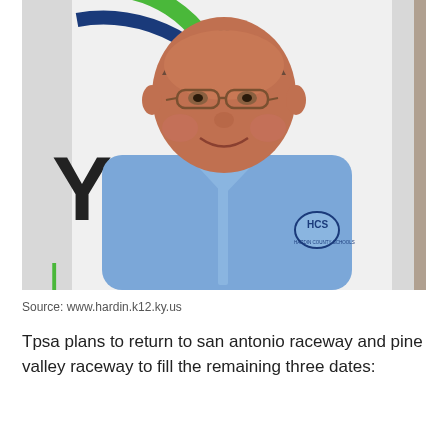[Figure (photo): Portrait photo of a middle-aged man wearing glasses and a light blue button-down shirt with an HCS (Hardin County Schools) logo, standing in front of a sign with green and blue circular design and letter Y visible.]
Source: www.hardin.k12.ky.us
Tpsa plans to return to san antonio raceway and pine valley raceway to fill the remaining three dates: